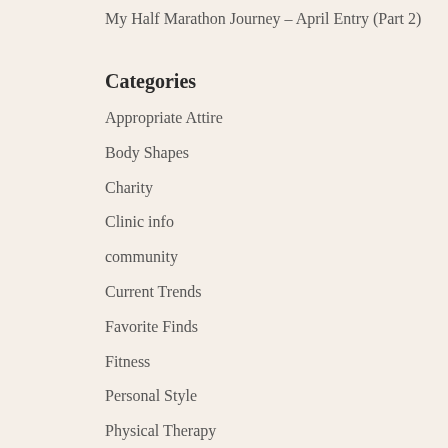My Half Marathon Journey – April Entry (Part 2)
Categories
Appropriate Attire
Body Shapes
Charity
Clinic info
community
Current Trends
Favorite Finds
Fitness
Personal Style
Physical Therapy
Physical Therapy
Uncategorized